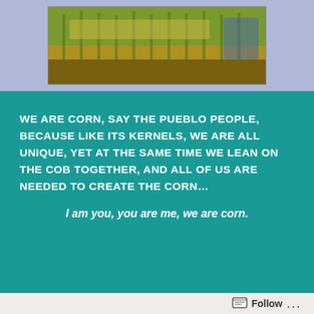[Figure (photo): Photo of corn field or corn maze banner at the top of the page]
WE ARE CORN, SAY THE PUEBLO PEOPLE, BECAUSE LIKE ITS KERNELS, WE ARE ALL UNIQUE, YET AT THE SAME TIME WE LEAN ON THE COB TOGETHER, AND ALL OF US ARE NEEDED TO CREATE THE CORN…
I am you, you are me, we are corn.
The Teacher's Corner
Given my website's name, should I call this space The Teacher's Corn... Har?